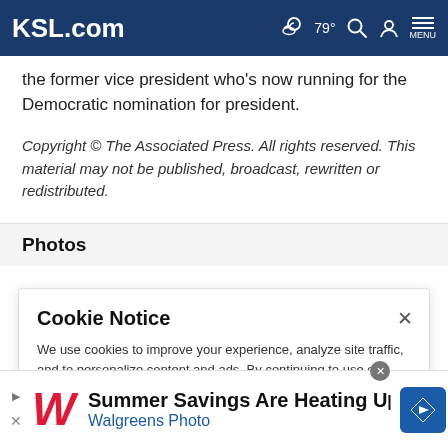KSL.com  79°  MENU
the former vice president who's now running for the Democratic nomination for president.
Copyright © The Associated Press. All rights reserved. This material may not be published, broadcast, rewritten or redistributed.
Photos
Cookie Notice
We use cookies to improve your experience, analyze site traffic, and to personalize content and ads. By continuing to use our site, you consent to our use of cookies. Please visit our Terms of Use and Privacy Policy for more information
[Figure (screenshot): Advertisement banner for Walgreens Photo: Summer Savings Are Heating Up, with Walgreens logo and navigation arrow icon]